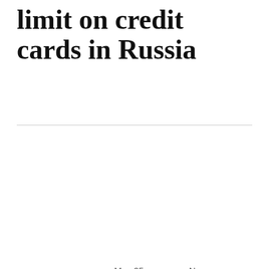limit on credit cards in Russia
Business  |  May 25, 2021  |  No Comments
[Figure (other): News article card with light beige background, Russian headline 'Аналитики сообщили о резком росте лимита по кредитным картам в России', category label 'ФИНАНСЫ', and 'B' logo in white circle]
Аналитики сообщили о резком росте лимита по кредитным картам в России
ФИНАНСЫ